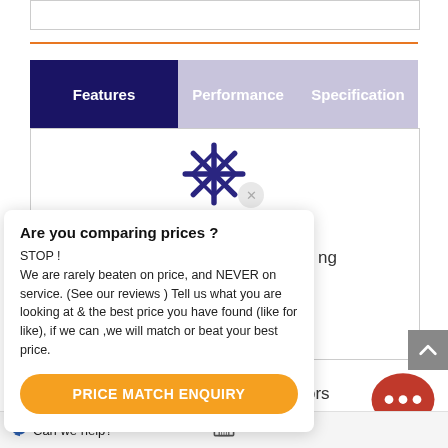[Figure (screenshot): Top navigation tab bar with three tabs: Features (active, dark navy), Performance (inactive, light purple), Specification (inactive, light purple)]
[Figure (illustration): Blue snowflake icon with a grey X close button overlay]
Are you comparing prices ?
STOP !
We are rarely beaten on price, and NEVER on service. (See our reviews ) Tell us what you are looking at & the best price you have found (like for like), if we can ,we will match or beat your best price.
[Figure (other): Orange rounded button labeled PRICE MATCH ENQUIRY]
Can we help?